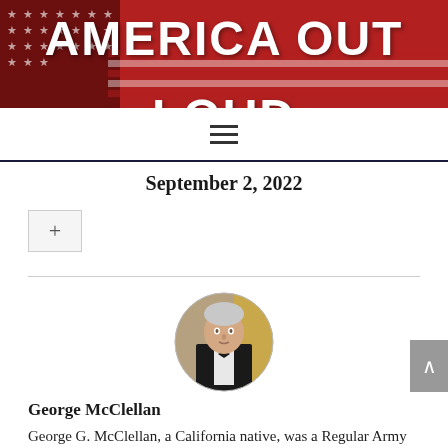AMERICA OUT LOUD
September 2, 2022
[Figure (photo): Circular portrait photo of George McClellan, an older man in a tuxedo with bow tie]
George McClellan
George G. McClellan, a California native, was a Regular Army veteran and served a post-war Korea tour. His post-army professional career